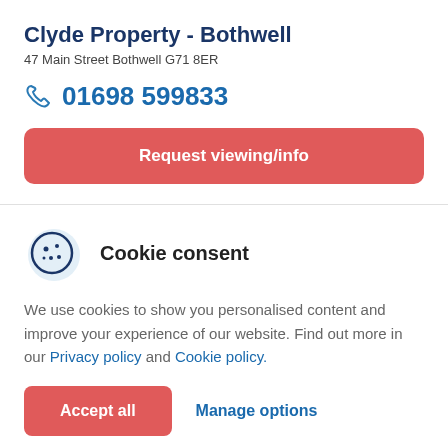Clyde Property - Bothwell
47 Main Street Bothwell G71 8ER
01698 599833
Request viewing/info
Cookie consent
We use cookies to show you personalised content and improve your experience of our website. Find out more in our Privacy policy and Cookie policy.
Accept all
Manage options